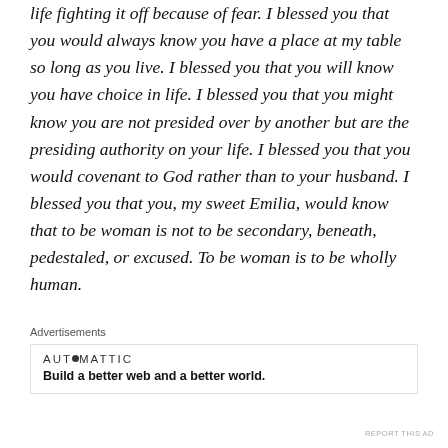life fighting it off because of fear. I blessed you that you would always know you have a place at my table so long as you live. I blessed you that you will know you have choice in life. I blessed you that you might know you are not presided over by another but are the presiding authority on your life. I blessed you that you would covenant to God rather than to your husband. I blessed you that you, my sweet Emilia, would know that to be woman is not to be secondary, beneath, pedestaled, or excused. To be woman is to be wholly human.
Advertisements
[Figure (other): Automattic advertisement: logo reading AUTOMATTIC with a dot over the O, tagline reads 'Build a better web and a better world.']
REPORT THIS AD